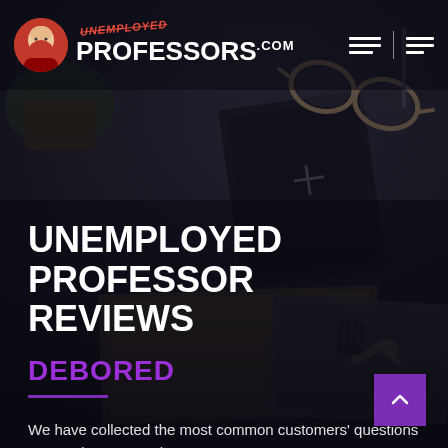[Figure (screenshot): Website header with Unemployed Professors logo (bald bearded professor avatar, red UNEMPLOYED stamp text, white PROFESSORS.COM text) on dark desk background with notebooks, glasses, and a hand writing. Navigation hamburger menu icons on the right.]
UNEMPLOYED PROFESSOR REVIEWS
DEBORED
We have collected the most common customers' questions concerning our service.